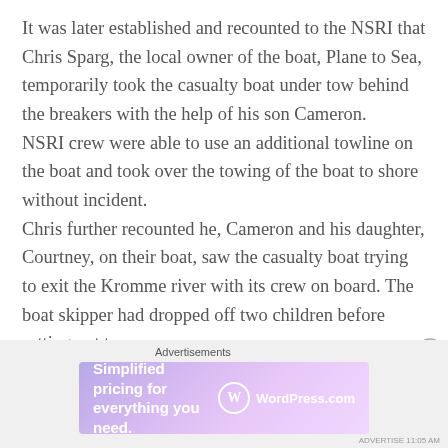It was later established and recounted to the NSRI that Chris Sparg, the local owner of the boat, Plane to Sea, temporarily took the casualty boat under tow behind the breakers with the help of his son Cameron.
NSRI crew were able to use an additional towline on the boat and took over the towing of the boat to shore without incident.
Chris further recounted he, Cameron and his daughter, Courtney, on their boat, saw the casualty boat trying to exit the Kromme river with its crew on board. The boat skipper had dropped off two children before setting out to sea.
Advertisements
[Figure (other): WordPress.com advertisement banner: 'Simplified pricing for everything you need.' with WordPress.com logo on a purple-pink gradient background.]